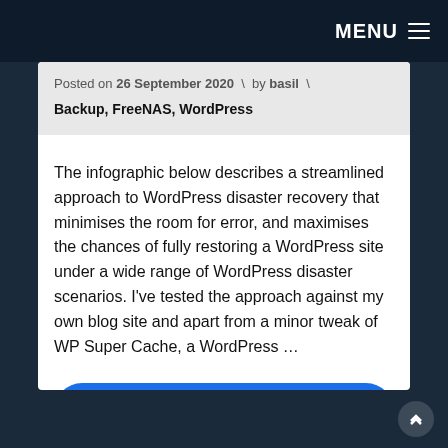MENU ≡
Posted on 26 September 2020  \  by basil  \
Backup, FreeNAS, WordPress
The infographic below describes a streamlined approach to WordPress disaster recovery that minimises the room for error, and maximises the chances of fully restoring a WordPress site under a wide range of WordPress disaster scenarios. I've tested the approach against my own blog site and apart from a minor tweak of WP Super Cache, a WordPress …
Continue reading »